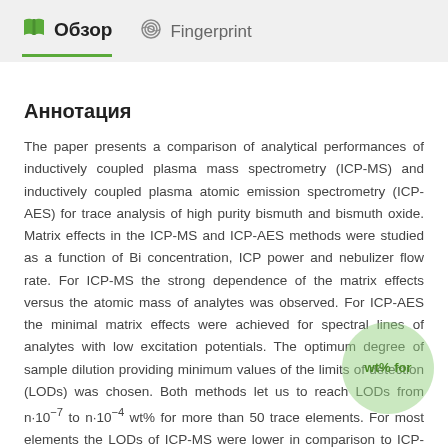Обзор  Fingerprint
Аннотация
The paper presents a comparison of analytical performances of inductively coupled plasma mass spectrometry (ICP-MS) and inductively coupled plasma atomic emission spectrometry (ICP-AES) for trace analysis of high purity bismuth and bismuth oxide. Matrix effects in the ICP-MS and ICP-AES methods were studied as a function of Bi concentration, ICP power and nebulizer flow rate. For ICP-MS the strong dependence of the matrix effects versus the atomic mass of analytes was observed. For ICP-AES the minimal matrix effects were achieved for spectral lines of analytes with low excitation potentials. The optimum degree of sample dilution providing minimum values of the limits of detection (LODs) was chosen. Both methods let us to reach LODs from n·10⁻⁷ to n·10⁻⁴ wt% for more than 50 trace elements. For most elements the LODs of ICP-MS were lower in comparison to ICP-AES. Validation